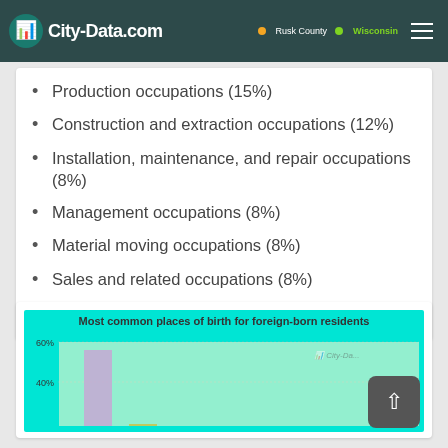City-Data.com
Production occupations (15%)
Construction and extraction occupations (12%)
Installation, maintenance, and repair occupations (8%)
Management occupations (8%)
Material moving occupations (8%)
Sales and related occupations (8%)
Transportation occupations (6%)
[Figure (bar-chart): Partial bar chart showing most common places of birth for foreign-born residents, with y-axis showing 40% and 60% markers. One tall purple/lavender bar visible near the left side.]